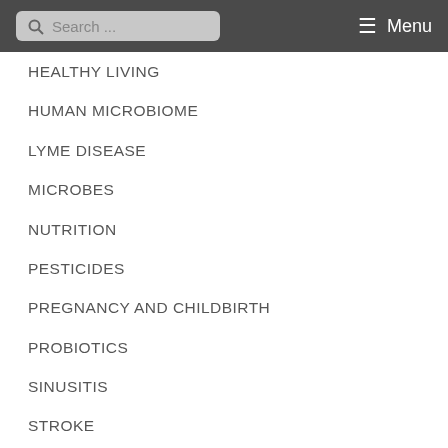Search ... Menu
HEALTHY LIVING
HUMAN MICROBIOME
LYME DISEASE
MICROBES
NUTRITION
PESTICIDES
PREGNANCY AND CHILDBIRTH
PROBIOTICS
SINUSITIS
STROKE
UNCATEGORIZED
URINARY TRACT INFECTIONS